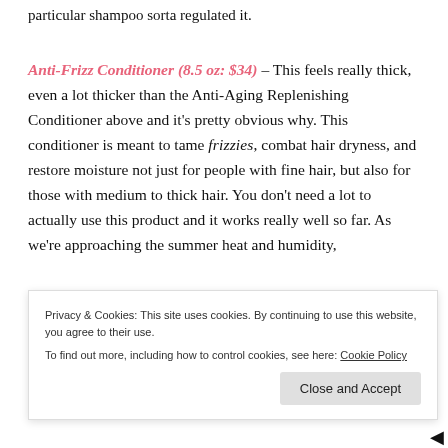particular shampoo sorta regulated it.
Anti-Frizz Conditioner (8.5 oz: $34) – This feels really thick, even a lot thicker than the Anti-Aging Replenishing Conditioner above and it's pretty obvious why. This conditioner is meant to tame frizzies, combat hair dryness, and restore moisture not just for people with fine hair, but also for those with medium to thick hair. You don't need a lot to actually use this product and it works really well so far. As we're approaching the summer heat and humidity,
Privacy & Cookies: This site uses cookies. By continuing to use this website, you agree to their use. To find out more, including how to control cookies, see here: Cookie Policy